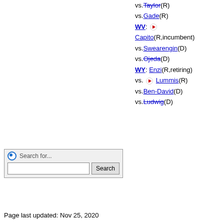vs. Taylor(R)
vs. Gade(R)
WV: Capito(R,incumbent) vs. Swearengin(D) vs. Ojeda(D)
WY: Enzi(R,retiring) vs. Lummis(R) vs. Ben-David(D) vs. Ludwig(D)
Search for...
Page last updated: Nov 25, 2020